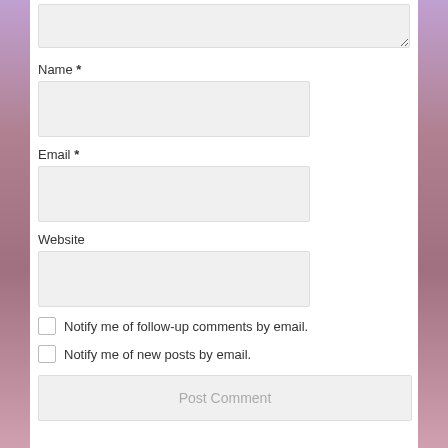(comment textarea - top, partially visible)
Name *
Email *
Website
Notify me of follow-up comments by email.
Notify me of new posts by email.
Post Comment